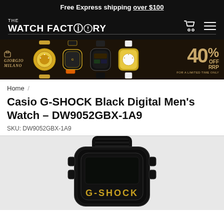Free Express shipping over $100
[Figure (logo): The Watch Factory logo with shopping cart and hamburger menu icons]
[Figure (infographic): Giorgio Milano watches promotional banner showing 40% OFF RRP for a limited time only]
Home /
Casio G-SHOCK Black Digital Men's Watch - DW9052GBX-1A9
SKU: DW9052GBX-1A9
[Figure (photo): Casio G-SHOCK DW9052GBX-1A9 black digital watch product photo showing the watch face with G-SHOCK branding in gold letters]